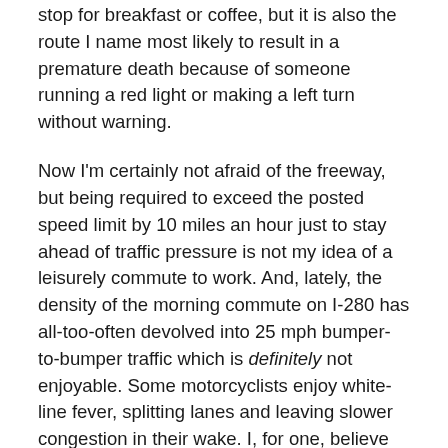stop for breakfast or coffee, but it is also the route I name most likely to result in a premature death because of someone running a red light or making a left turn without warning.
Now I'm certainly not afraid of the freeway, but being required to exceed the posted speed limit by 10 miles an hour just to stay ahead of traffic pressure is not my idea of a leisurely commute to work. And, lately, the density of the morning commute on I-280 has all-too-often devolved into 25 mph bumper-to-bumper traffic which is definitely not enjoyable. Some motorcyclists enjoy white-line fever, splitting lanes and leaving slower congestion in their wake. I, for one, believe that you decrease your good karma significantly every time you split lanes. I also wouldn't be at all surprised if the daily motorcycle accidents I hear about on the radio weren't directly correlated to aggressive